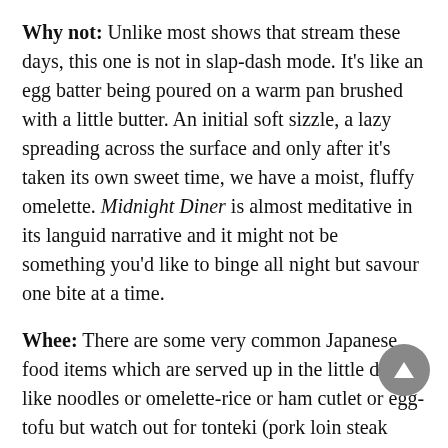Why not: Unlike most shows that stream these days, this one is not in slap-dash mode. It's like an egg batter being poured on a warm pan brushed with a little butter. An initial soft sizzle, a lazy spreading across the surface and only after it's taken its own sweet time, we have a moist, fluffy omelette. Midnight Diner is almost meditative in its languid narrative and it might not be something you'd like to binge all night but savour one bite at a time.
Whee: There are some very common Japanese food items which are served up in the little diner like noodles or omelette-rice or ham cutlet or egg-tofu but watch out for tonteki (pork loin steak cooked in a garlic sauce), tanmen (a simple but typical Tokyo style ramen) and the sour plum (heavily salted